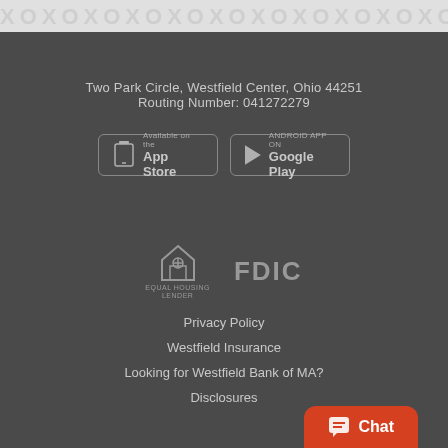[Figure (other): Repeating XO pattern watermark header banner in light gray]
Two Park Circle, Westfield Center, Ohio 44251
Routing Number: 041272279
[Figure (other): App Store download button with phone icon]
[Figure (other): Google Play download button with play triangle icon]
[Figure (other): Equal Housing Lender logo - house with equal sign]
[Figure (other): FDIC logo text]
Privacy Policy
Westfield Insurance
Looking for Westfield Bank of MA?
Disclosures
[Figure (other): Orange chat button with chat bubble icon and text Chat]